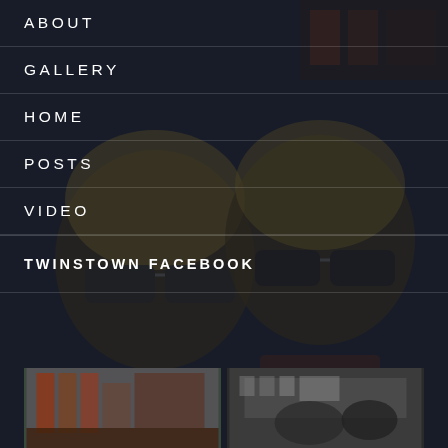[Figure (illustration): Dark illustrated background showing two cartoon/comic-style characters wearing sunglasses, set against a dark navy background with a faint store/bar setting]
ABOUT
GALLERY
HOME
POSTS
VIDEO
TWINSTOWN FACEBOOK
INSTAGRAM
[Figure (photo): Color photo thumbnail showing interior of a store/shop with shelves and merchandise]
[Figure (photo): Black and white photo thumbnail showing interior of a venue with people and wall decorations]